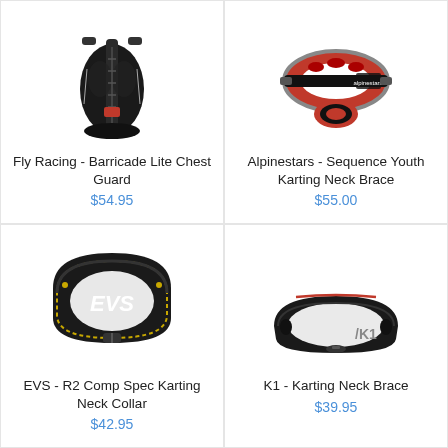[Figure (photo): Fly Racing Barricade Lite Chest Guard - black protective vest with spine guard]
Fly Racing - Barricade Lite Chest Guard
$54.95
[Figure (photo): Alpinestars Sequence Youth Karting Neck Brace - red and black neck brace]
Alpinestars - Sequence Youth Karting Neck Brace
$55.00
[Figure (photo): EVS R2 Comp Spec Karting Neck Collar - black collar with EVS logo]
EVS - R2 Comp Spec Karting Neck Collar
$42.95
[Figure (photo): K1 Karting Neck Brace - sleek black curved neck brace]
K1 - Karting Neck Brace
$39.95